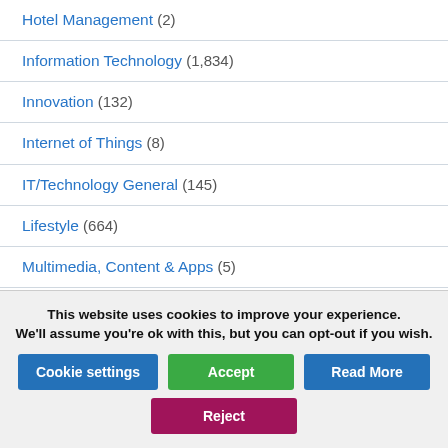Hotel Management (2)
Information Technology (1,834)
Innovation (132)
Internet of Things (8)
IT/Technology General (145)
Lifestyle (664)
Multimedia, Content & Apps (5)
Network Management (4)
Office Management (2)
This website uses cookies to improve your experience. We'll assume you're ok with this, but you can opt-out if you wish.